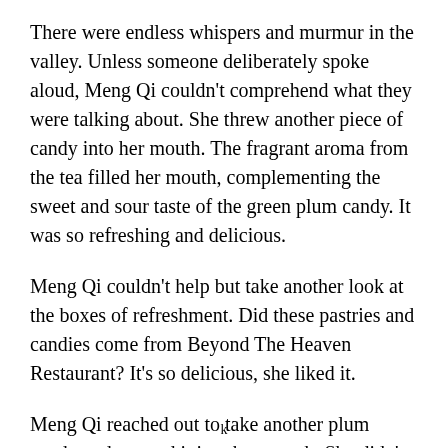There were endless whispers and murmur in the valley. Unless someone deliberately spoke aloud, Meng Qi couldn't comprehend what they were talking about. She threw another piece of candy into her mouth. The fragrant aroma from the tea filled her mouth, complementing the sweet and sour taste of the green plum candy. It was so refreshing and delicious.
Meng Qi couldn't help but take another look at the boxes of refreshment. Did these pastries and candies come from Beyond The Heaven Restaurant? It's so delicious, she liked it.
Meng Qi reached out to take another plum candy and popped it into her mouth. She didn't expect that the service at Heaven Auction House to be so good. Even
k